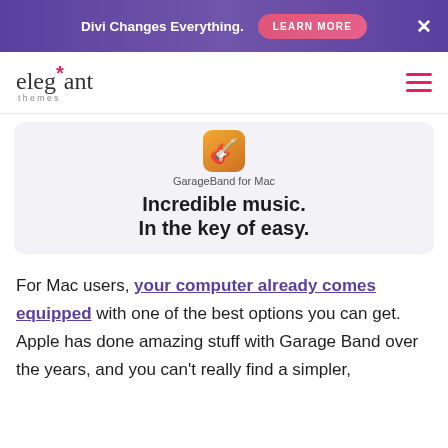Divi Changes Everything. LEARN MORE ×
[Figure (logo): Elegant Themes logo with asterisk and hamburger menu icon]
[Figure (screenshot): GarageBand for Mac app icon and tagline: Incredible music. In the key of easy.]
For Mac users, your computer already comes equipped with one of the best options you can get. Apple has done amazing stuff with Garage Band over the years, and you can't really find a simpler,